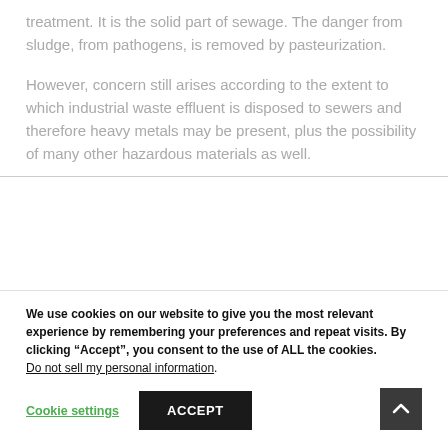treatment. It is the solid part of sewage. The danger from sludge, from pathogens, is removed by pasteurization.
However, concern still arises according to the extent to which industrial waste effluent is disposed to sewers and therefore heavy metals may be present, plus the possibility of many other hazardous materials as well.
We use cookies on our website to give you the most relevant experience by remembering your preferences and repeat visits. By clicking "Accept", you consent to the use of ALL the cookies. Do not sell my personal information.